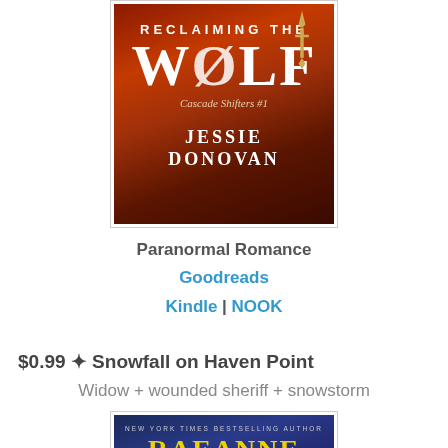[Figure (photo): Book cover for 'Reclaiming the Wolf – Cascade Shifters #1' by Jessie Donovan. Dark red/orange dramatic mountain background with a large decorative title and author name in white text.]
Paranormal Romance
Goodreads
Kindle | NOOK
$0.99 ✦ Snowfall on Haven Point
Widow + wounded sheriff + snowstorm
[Figure (photo): Partial book cover for a book by a New York Times Bestselling Author, showing the author name 'RaeAnne' in large yellow letters on a dark blue starry background.]